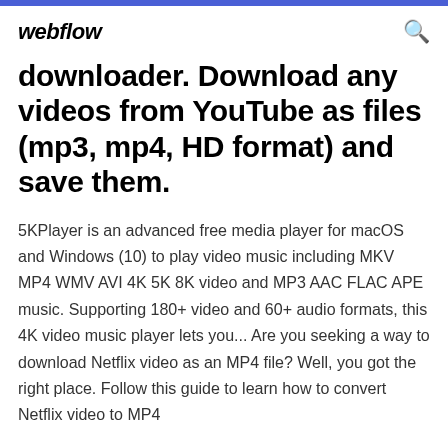webflow
downloader. Download any videos from YouTube as files (mp3, mp4, HD format) and save them.
5KPlayer is an advanced free media player for macOS and Windows (10) to play video music including MKV MP4 WMV AVI 4K 5K 8K video and MP3 AAC FLAC APE music. Supporting 180+ video and 60+ audio formats, this 4K video music player lets you... Are you seeking a way to download Netflix video as an MP4 file? Well, you got the right place. Follow this guide to learn how to convert Netflix video to MP4